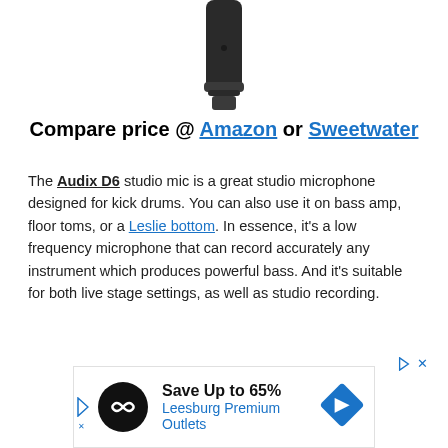[Figure (photo): Bottom portion of a dark/black microphone body against white background]
Compare price @ Amazon or Sweetwater
The Audix D6 studio mic is a great studio microphone designed for kick drums. You can also use it on bass amp, floor toms, or a Leslie bottom. In essence, it's a low frequency microphone that can record accurately any instrument which produces powerful bass. And it's suitable for both live stage settings, as well as studio recording.
[Figure (screenshot): Advertisement banner: Save Up to 65% Leesburg Premium Outlets with logo and navigation arrow]